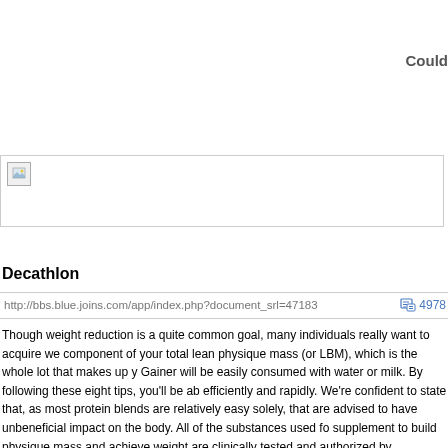Could
[Figure (other): Broken/missing image placeholder with small image icon in top-left corner, bordered rectangle]
Decathlon
http://bbs.blue.joins.com/app/index.php?document_srl=47183   4978
Though weight reduction is a quite common goal, many individuals really want to acquire we component of your total lean physique mass (or LBM), which is the whole lot that makes up y Gainer will be easily consumed with water or milk. By following these eight tips, you'll be ab efficiently and rapidly. We're confident to state that, as most protein blends are relatively easy solely, that are advised to have unbeneficial impact on the body. All of the substances used fo supplement to build physique mass and achieve weight are clinically tested and authorized by constructing refers to a course of a selected kind of train or physical workout is adhered to d